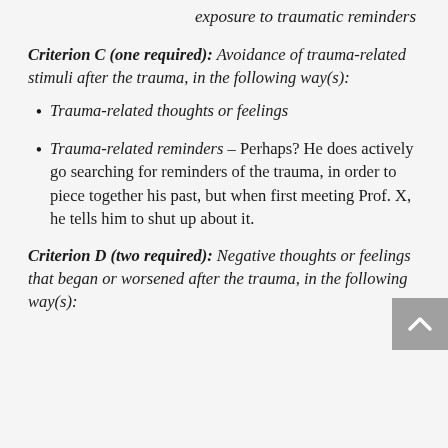exposure to traumatic reminders
Criterion C (one required): Avoidance of trauma-related stimuli after the trauma, in the following way(s):
Trauma-related thoughts or feelings
Trauma-related reminders – Perhaps? He does actively go searching for reminders of the trauma, in order to piece together his past, but when first meeting Prof. X, he tells him to shut up about it.
Criterion D (two required): Negative thoughts or feelings that began or worsened after the trauma, in the following way(s):